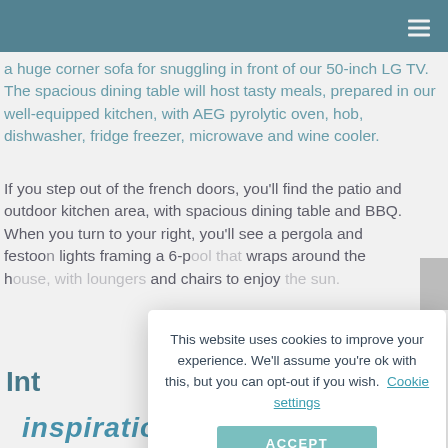a huge corner sofa for snuggling in front of our 50-inch LG TV. The spacious dining table will host tasty meals, prepared in our well-equipped kitchen, with AEG pyrolytic oven, hob, dishwasher, fridge freezer, microwave and wine cooler.
If you step out of the french doors, you'll find the patio and outdoor kitchen area, with spacious dining table and BBQ. When you turn to your right, you'll see a pergola and festoon lights framing a 6-p... wraps around the h... and chairs to enjoy...
This website uses cookies to improve your experience. We'll assume you're ok with this, but you can opt-out if you wish. Cookie settings
ACCEPT
Int...
inspiration